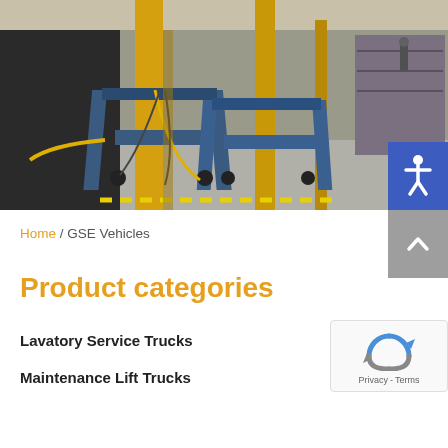[Figure (photo): Interior of an industrial warehouse or manufacturing facility showing blue metal lift equipment with yellow support columns, cables, and machinery on a concrete floor.]
Home / GSE Vehicles
Product categories
Lavatory Service Trucks
Maintenance Lift Trucks